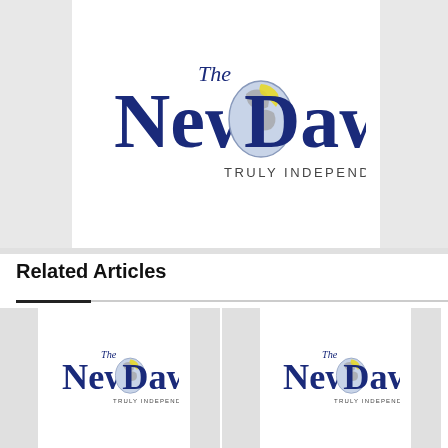[Figure (logo): The New Dawn - Truly Independent newspaper logo. Large bold dark navy blue serif text reading 'NewDawn' with smaller italic 'The' above, and a globe/map illustration in the center. Tagline 'TRULY INDEPENDENT' below in small caps.]
Related Articles
[Figure (logo): The New Dawn - Truly Independent newspaper logo (smaller version, thumbnail for related article)]
[Figure (logo): The New Dawn - Truly Independent newspaper logo (smaller version, thumbnail for related article)]